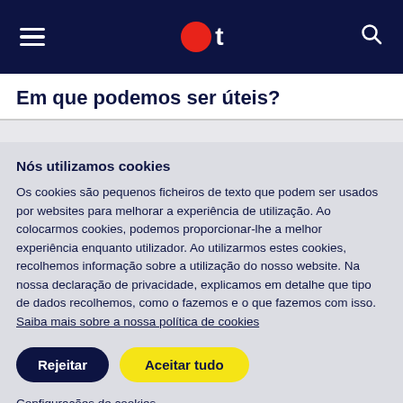Navigation bar with hamburger menu, logo (red circle + t), and search icon
Em que podemos ser úteis?
Nós utilizamos cookies
Os cookies são pequenos ficheiros de texto que podem ser usados por websites para melhorar a experiência de utilização. Ao colocarmos cookies, podemos proporcionar-lhe a melhor experiência enquanto utilizador. Ao utilizarmos estes cookies, recolhemos informação sobre a utilização do nosso website. Na nossa declaração de privacidade, explicamos em detalhe que tipo de dados recolhemos, como o fazemos e o que fazemos com isso. Saiba mais sobre a nossa política de cookies
Rejeitar
Aceitar tudo
Configurações de cookies